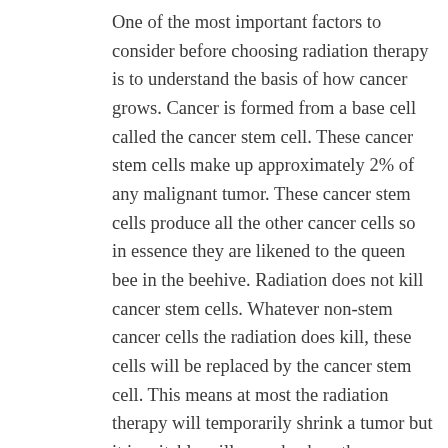One of the most important factors to consider before choosing radiation therapy is to understand the basis of how cancer grows. Cancer is formed from a base cell called the cancer stem cell. These cancer stem cells make up approximately 2% of any malignant tumor. These cancer stem cells produce all the other cancer cells so in essence they are likened to the queen bee in the beehive. Radiation does not kill cancer stem cells. Whatever non-stem cancer cells the radiation does kill, these cells will be replaced by the cancer stem cell. This means at most the radiation therapy will temporarily shrink a tumor but it inevitably will grow back as the cancer stem cells replace the non-cancer stem cells that were destroyed from the radiation. This is an important fact to consider knowing that radiation and chemotherapy do not “cure” cancer but instead they temporarily slow down its growth. This is when other non-toxic natural therapies can be done in conjunction with the chemotherapy and